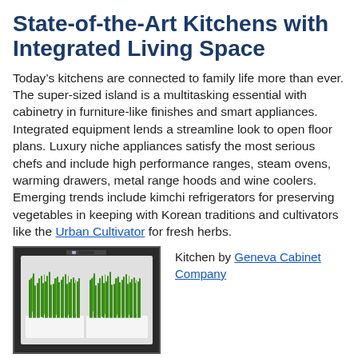State-of-the-Art Kitchens with Integrated Living Space
Today’s kitchens are connected to family life more than ever. The super-sized island is a multitasking essential with cabinetry in furniture-like finishes and smart appliances. Integrated equipment lends a streamline look to open floor plans. Luxury niche appliances satisfy the most serious chefs and include high performance ranges, steam ovens, warming drawers, metal range hoods and wine coolers. Emerging trends include kimchi refrigerators for preserving vegetables in keeping with Korean traditions and cultivators like the Urban Cultivator for fresh herbs.
[Figure (photo): Photo of an Urban Cultivator unit showing green wheat grass growing inside a white tray, displayed within a dark-framed appliance.]
Kitchen by Geneva Cabinet Company